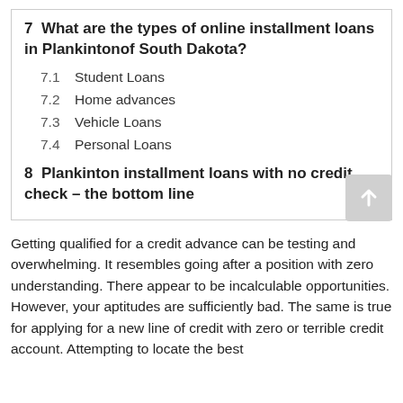7  What are the types of online installment loans in Plankintonof South Dakota?
7.1  Student Loans
7.2  Home advances
7.3  Vehicle Loans
7.4  Personal Loans
8  Plankinton installment loans with no credit check – the bottom line
Getting qualified for a credit advance can be testing and overwhelming. It resembles going after a position with zero understanding. There appear to be incalculable opportunities. However, your aptitudes are sufficiently bad. The same is true for applying for a new line of credit with zero or terrible credit account. Attempting to locate the best